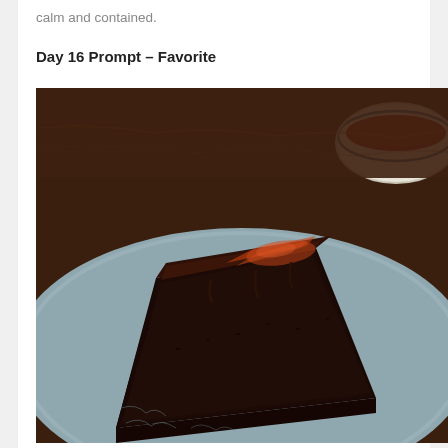calm and contained.
Day 16 Prompt – Favorite
[Figure (photo): A slice of dark chocolate cake with glossy chocolate ganache frosting on a blue-grey plate, with a white enamel bowl visible in the background on a wooden table.]